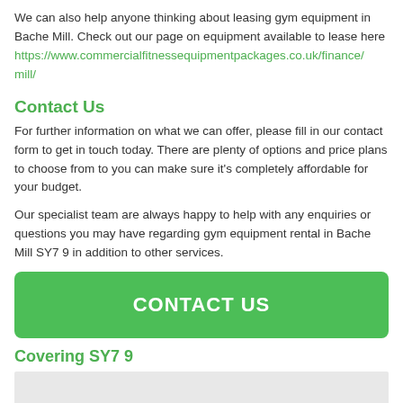We can also help anyone thinking about leasing gym equipment in Bache Mill. Check out our page on equipment available to lease here https://www.commercialfitnessequipmentpackages.co.uk/finance/mill/
Contact Us
For further information on what we can offer, please fill in our contact form to get in touch today. There are plenty of options and price plans to choose from to you can make sure it's completely affordable for your budget.
Our specialist team are always happy to help with any enquiries or questions you may have regarding gym equipment rental in Bache Mill SY7 9 in addition to other services.
[Figure (other): Green CONTACT US button]
Covering SY7 9
[Figure (map): Map placeholder area showing coverage of SY7 9]